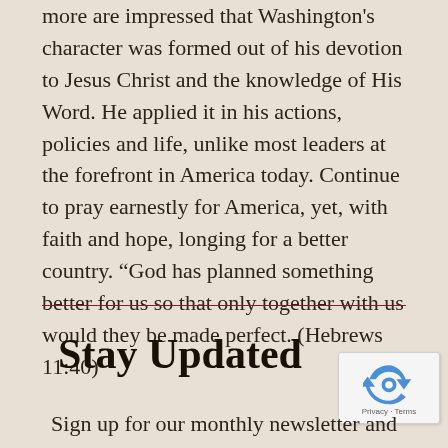more are impressed that Washington's character was formed out of his devotion to Jesus Christ and the knowledge of His Word. He applied it in his actions, policies and life, unlike most leaders at the forefront in America today. Continue to pray earnestly for America, yet, with faith and hope, longing for a better country. “God has planned something better for us so that only together with us would they be made perfect. (Hebrews 11:40)
Stay Updated
Sign up for our monthly newsletter and weekly